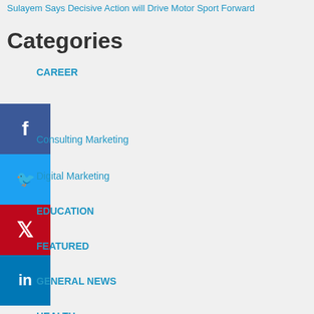Sulayem Says Decisive Action will Drive Motor Sport Forward
Categories
CAREER
Consulting Marketing
Digital Marketing
EDUCATION
FEATURED
GENERAL NEWS
HEALTH
Life Style Services
Online Marketing
SELF DEVELOPMENT
SEO Technology